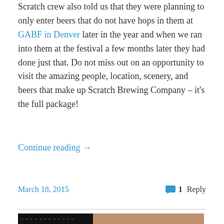Scratch crew also told us that they were planning to only enter beers that do not have hops in them at GABF in Denver later in the year and when we ran into them at the festival a few months later they had done just that. Do not miss out on an opportunity to visit the amazing people, location, scenery, and beers that make up Scratch Brewing Company – it's the full package!
Continue reading →
March 18, 2015
1 Reply
[Figure (photo): The Beer Connoisseur Club logo on dark background with hop pattern, alongside a photo of a smiling person holding a dark beer glass]